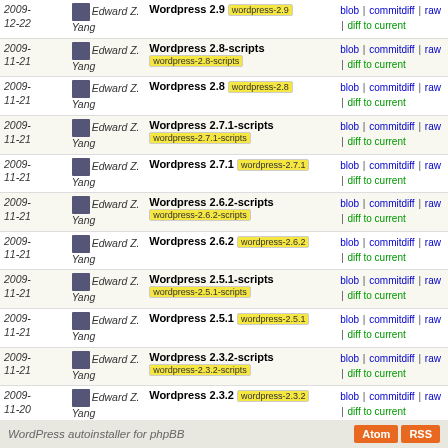| Date | Author | Description | Links |
| --- | --- | --- | --- |
| 2009-12-22 | Edward Z. Yang | Wordpress 2.9  wordpress-2.9 | blob | commitdiff | raw | diff to current |
| 2009-11-21 | Edward Z. Yang | Wordpress 2.8-scripts  wordpress-2.8-scripts | blob | commitdiff | raw | diff to current |
| 2009-11-21 | Edward Z. Yang | Wordpress 2.8  wordpress-2.8 | blob | commitdiff | raw | diff to current |
| 2009-11-21 | Edward Z. Yang | Wordpress 2.7.1-scripts  wordpress-2.7.1-scripts | blob | commitdiff | raw | diff to current |
| 2009-11-21 | Edward Z. Yang | Wordpress 2.7.1  wordpress-2.7.1 | blob | commitdiff | raw | diff to current |
| 2009-11-21 | Edward Z. Yang | Wordpress 2.6.2-scripts  wordpress-2.6.2-scripts | blob | commitdiff | raw | diff to current |
| 2009-11-21 | Edward Z. Yang | Wordpress 2.6.2  wordpress-2.6.2 | blob | commitdiff | raw | diff to current |
| 2009-11-21 | Edward Z. Yang | Wordpress 2.5.1-scripts  wordpress-2.5.1-scripts | blob | commitdiff | raw | diff to current |
| 2009-11-21 | Edward Z. Yang | Wordpress 2.5.1  wordpress-2.5.1 | blob | commitdiff | raw | diff to current |
| 2009-11-21 | Edward Z. Yang | Wordpress 2.3.2-scripts  wordpress-2.3.2-scripts | blob | commitdiff | raw | diff to current |
| 2009-11-20 | Edward Z. Yang | Wordpress 2.3.2  wordpress-2.3.2 | blob | commitdiff | raw | diff to current |
WordPress autoinstaller for phpBB